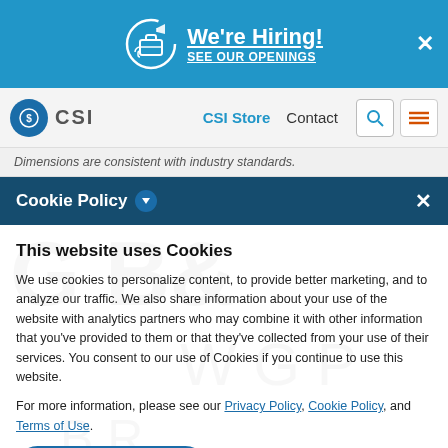We're Hiring! SEE OUR OPENINGS
CSI | CSI Store | Contact
Dimensions are consistent with industry standards.
Cookie Policy
This website uses Cookies
We use cookies to personalize content, to provide better marketing, and to analyze our traffic. We also share information about your use of the website with analytics partners who may combine it with other information that you've provided to them or that they've collected from your use of their services. You consent to our use of Cookies if you continue to use this website.
For more information, please see our Privacy Policy, Cookie Policy, and Terms of Use.
Accept all cookies